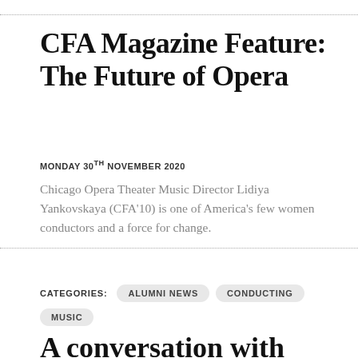CFA Magazine Feature: The Future of Opera
MONDAY 30TH NOVEMBER 2020
Chicago Opera Theater Music Director Lidiya Yankovskaya (CFA’10) is one of America’s few women conductors and a force for change.
CATEGORIES: ALUMNI NEWS  CONDUCTING  MUSIC
A conversation with